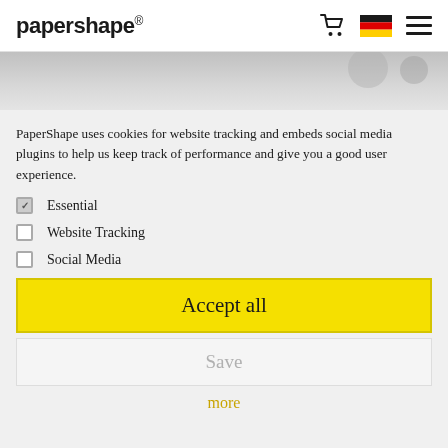papershape®
[Figure (photo): Partial view of a product photo with light gray background, cropped at top]
PaperShape uses cookies for website tracking and embeds social media plugins to help us keep track of performance and give you a good user experience.
Essential (checked)
Website Tracking (unchecked)
Social Media (unchecked)
Accept all
Save
more